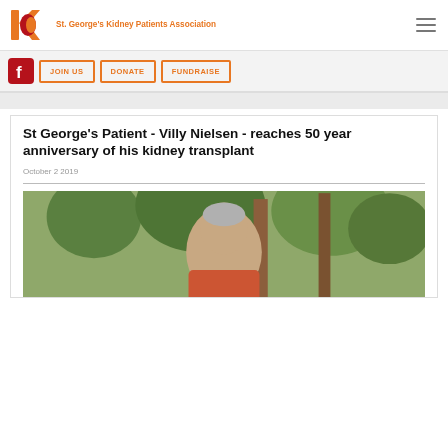[Figure (logo): St. George's Kidney Patients Association logo with orange K and red kidney icon]
[Figure (infographic): Navigation bar with Facebook icon, JOIN US button, DONATE button, FUNDRAISE button]
St George's Patient - Villy Nielsen - reaches 50 year anniversary of his kidney transplant
October 2 2019
[Figure (photo): Photo of Villy Nielsen, an elderly man, outdoors with greenery in background]